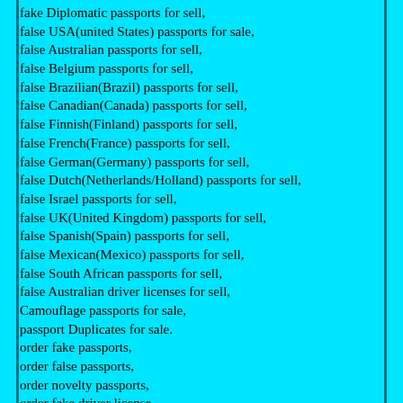fake Diplomatic passports for sell,
false USA(united States) passports for sale,
false Australian passports for sell,
false Belgium passports for sell,
false Brazilian(Brazil) passports for sell,
false Canadian(Canada) passports for sell,
false Finnish(Finland) passports for sell,
false French(France) passports for sell,
false German(Germany) passports for sell,
false Dutch(Netherlands/Holland) passports for sell,
false Israel passports for sell,
false UK(United Kingdom) passports for sell,
false Spanish(Spain) passports for sell,
false Mexican(Mexico) passports for sell,
false South African passports for sell,
false Australian driver licenses for sell,
Camouflage passports for sale,
passport Duplicates for sale.
order fake passports,
order false passports,
order novelty passports,
order fake driver license,
order false driver license,
order novelty driver license,
order Diplomatic passports,